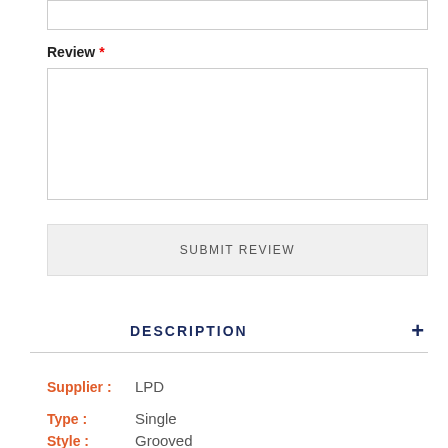[Figure (screenshot): A text input box at the top of the page, partially visible, with a border.]
Review *
[Figure (screenshot): A large textarea input box for entering a review, with a resize handle at the bottom right.]
SUBMIT REVIEW
DESCRIPTION +
Supplier : LPD
Type : Single
Style : Grooved